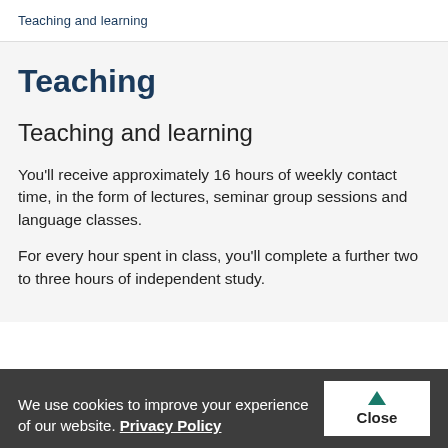Teaching and learning
Teaching
Teaching and learning
You'll receive approximately 16 hours of weekly contact time, in the form of lectures, seminar group sessions and language classes.
For every hour spent in class, you'll complete a further two to three hours of independent study.
We use cookies to improve your experience of our website. Privacy Policy  Close